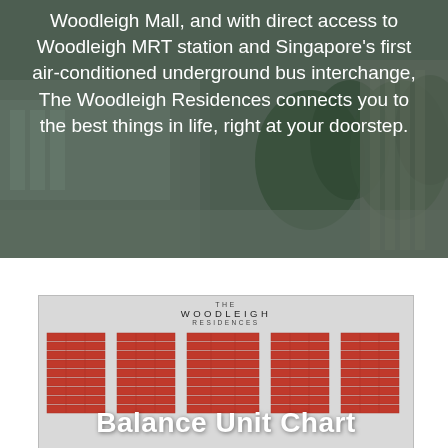Woodleigh Mall, and with direct access to Woodleigh MRT station and Singapore's first air-conditioned underground bus interchange, The Woodleigh Residences connects you to the best things in life, right at your doorstep.
[Figure (other): Balance Unit Chart for The Woodleigh Residences showing stacked red grid cells representing available units across multiple building stacks/unit types, with 'Balance Unit Chart' text overlay]